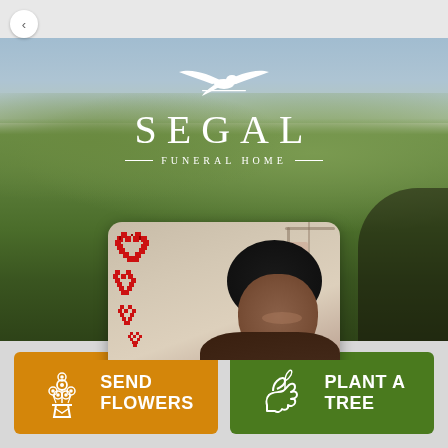[Figure (logo): Segal Funeral Home logo with bird/dove silhouette above text, white on dark background]
[Figure (photo): Portrait photo of a woman wearing a dark head covering, with pixel-art red hearts overlay on left side]
SEND FLOWERS
PLANT A TREE